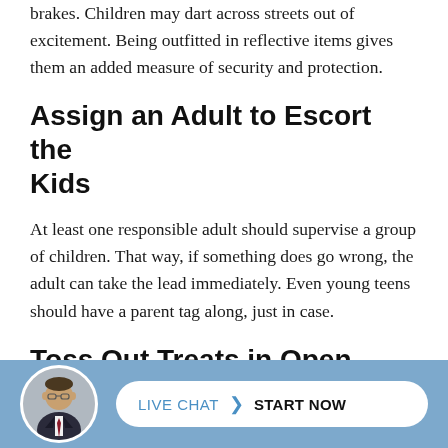brakes. Children may dart across streets out of excitement. Being outfitted in reflective items gives them an added measure of security and protection.
Assign an Adult to Escort the Kids
At least one responsible adult should supervise a group of children. That way, if something does go wrong, the adult can take the lead immediately. Even young teens should have a parent tag along, just in case.
Toss Out Treats in Open Containers
[Figure (other): Live chat footer bar with avatar photo of a man in a suit and a white pill-shaped button reading LIVE CHAT > START NOW on a blue background]